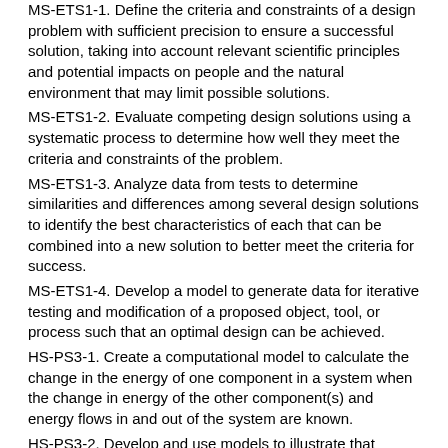MS-ETS1-1. Define the criteria and constraints of a design problem with sufficient precision to ensure a successful solution, taking into account relevant scientific principles and potential impacts on people and the natural environment that may limit possible solutions.
MS-ETS1-2. Evaluate competing design solutions using a systematic process to determine how well they meet the criteria and constraints of the problem.
MS-ETS1-3. Analyze data from tests to determine similarities and differences among several design solutions to identify the best characteristics of each that can be combined into a new solution to better meet the criteria for success.
MS-ETS1-4. Develop a model to generate data for iterative testing and modification of a proposed object, tool, or process such that an optimal design can be achieved.
HS-PS3-1. Create a computational model to calculate the change in the energy of one component in a system when the change in energy of the other component(s) and energy flows in and out of the system are known.
HS-PS3-2. Develop and use models to illustrate that energy at the macroscopic scale can be accounted for as a combination of energy associated with the motion of particles (objects) and energy associated with the relative position of particles (objects).